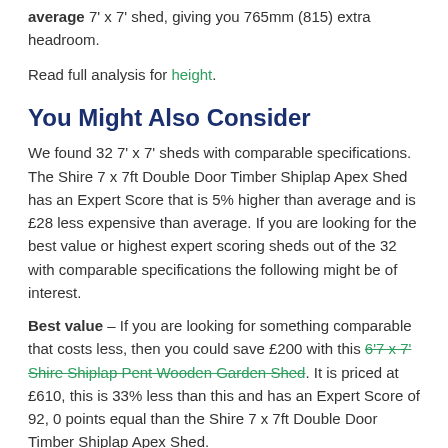average 7' x 7' shed, giving you 765mm (815) extra headroom.
Read full analysis for height.
You Might Also Consider
We found 32 7' x 7' sheds with comparable specifications. The Shire 7 x 7ft Double Door Timber Shiplap Apex Shed has an Expert Score that is 5% higher than average and is £28 less expensive than average. If you are looking for the best value or highest expert scoring sheds out of the 32 with comparable specifications the following might be of interest.
Best value – If you are looking for something comparable that costs less, then you could save £200 with this 6'7 x 7' Shire Shiplap Pent Wooden Garden Shed. It is priced at £610, this is 33% less than this and has an Expert Score of 92, 0 points equal than the Shire 7 x 7ft Double Door Timber Shiplap Apex Shed.
The Shire 7 x 7ft Double Door Timber Shiplap Apex Shed is the best scoring shed available out of all 32 7' x 7' sheds we analysed.
High Wind Area – If you live in a particularly exposed or high wind